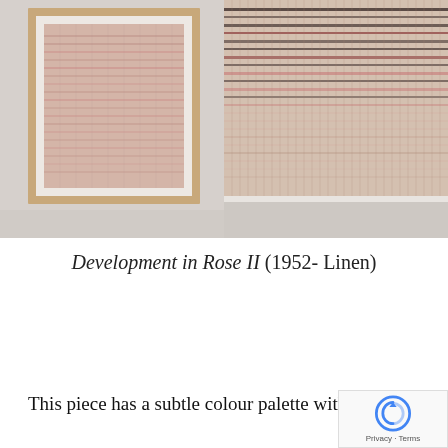[Figure (photo): Two photographs side by side of a woven textile artwork 'Development in Rose II'. Left shows the framed piece in a wooden frame hung on a wall. Right shows a close-up detail of the linen weave with rose/pink and dark thread patterns.]
Development in Rose II (1952- Linen)
This piece has a subtle colour palette with